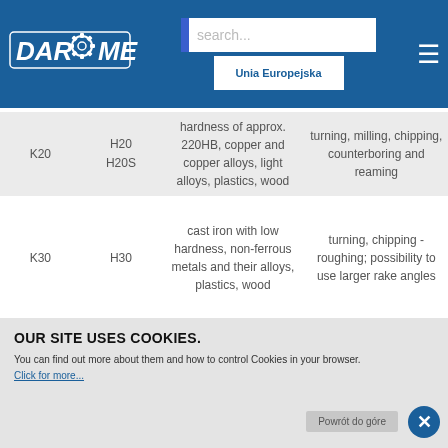[Figure (screenshot): Daromet company logo with circular gear icon on blue header bar, EU logo, search box, and hamburger menu]
| Code | Insert | Material | Application |
| --- | --- | --- | --- |
| K20 | H20
H20S | hardness of approx. 220HB, copper and copper alloys, light alloys, plastics, wood | turning, milling, chipping, counterboring and reaming |
| K30 | H30 | cast iron with low hardness, non-ferrous metals and their alloys, plastics, wood | turning, chipping - roughing; possibility to use larger rake angles |
|  |  | steel, cast iron, concrete, stone | milling |
OUR SITE USES COOKIES.
You can find out more about them and how to control Cookies in your browser.
Click for more...